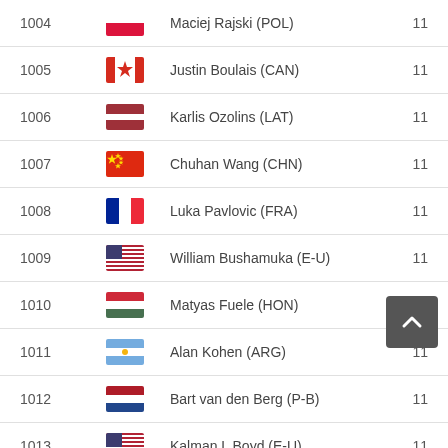| Rank | Flag | Name | Score |
| --- | --- | --- | --- |
| 1004 | POL | Maciej Rajski (POL) | 11 |
| 1005 | CAN | Justin Boulais (CAN) | 11 |
| 1006 | LAT | Karlis Ozolins (LAT) | 11 |
| 1007 | CHN | Chuhan Wang (CHN) | 11 |
| 1008 | FRA | Luka Pavlovic (FRA) | 11 |
| 1009 | E-U | William Bushamuka (E-U) | 11 |
| 1010 | HON | Matyas Fuele (HON) | 11 |
| 1011 | ARG | Alan Kohen (ARG) | 11 |
| 1012 | P-B | Bart van den Berg (P-B) | 11 |
| 1013 | E-U | Kalman L Boyd (E-U) | 11 |
| 1014 | E-U | Tristan Boyer (E-U) | 11 |